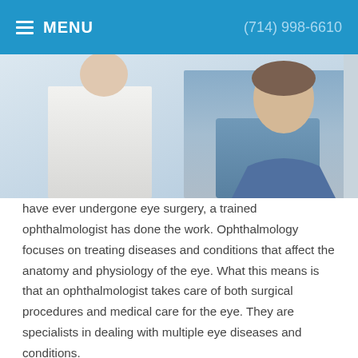MENU  (714) 998-6610
[Figure (photo): Photo showing a patient in a blue denim shirt with a medical professional in a white coat on the left, taken in a clinical setting.]
have ever undergone eye surgery, a trained ophthalmologist has done the work. Ophthalmology focuses on treating diseases and conditions that affect the anatomy and physiology of the eye. What this means is that an ophthalmologist takes care of both surgical procedures and medical care for the eye. They are specialists in dealing with multiple eye diseases and conditions.
Ophthalmology Training and Education
Becoming an ophthalmologist requires a medical degree and completing residency like other branches